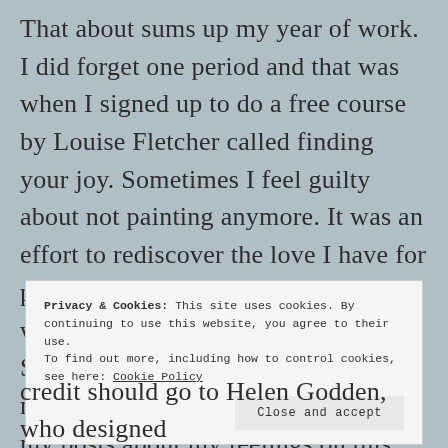That about sums up my year of work. I did forget one period and that was when I signed up to do a free course by Louise Fletcher called finding your joy. Sometimes I feel guilty about not painting anymore. It was an effort to rediscover the love I have for painting. Maybe I will find it again when, or if we move back to Scotland, I hope so. This course did not help in that regard. You can read my posts about my feelings on this program. In my head, it's forgotten. It's the art world's pryamid scheme basically.
Privacy & Cookies: This site uses cookies. By continuing to use this website, you agree to their use. To find out more, including how to control cookies, see here: Cookie Policy
Close and accept
credit should go to Helen Godden, who designed